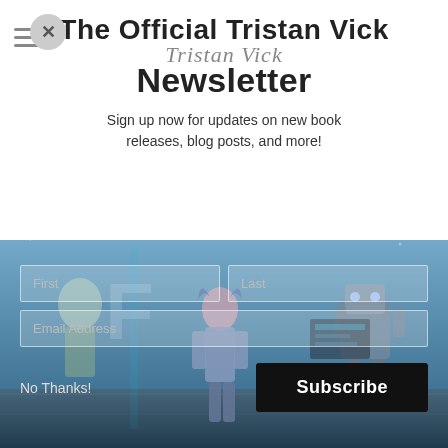The Official Tristan Vick Tristan Vick Newsletter
Sign up now for updates on new book releases, blog posts, and more!
[Figure (illustration): Sci-fi comic book style illustration showing a female character in futuristic armor suit with robots in a space-themed setting, used as background image behind a newsletter signup form]
First | Last | Email Address | No Thanks! | Subscribe